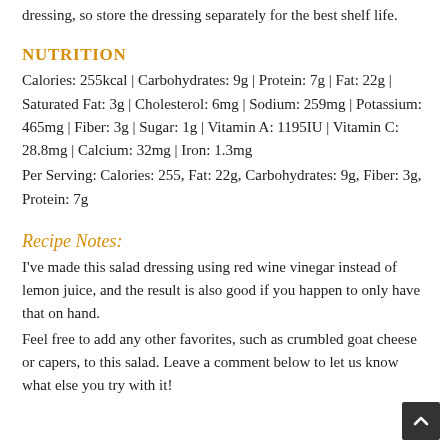dressing, so store the dressing separately for the best shelf life.
NUTRITION
Calories: 255kcal | Carbohydrates: 9g | Protein: 7g | Fat: 22g | Saturated Fat: 3g | Cholesterol: 6mg | Sodium: 259mg | Potassium: 465mg | Fiber: 3g | Sugar: 1g | Vitamin A: 1195IU | Vitamin C: 28.8mg | Calcium: 32mg | Iron: 1.3mg
Per Serving: Calories: 255, Fat: 22g, Carbohydrates: 9g, Fiber: 3g, Protein: 7g
Recipe Notes:
I've made this salad dressing using red wine vinegar instead of lemon juice, and the result is also good if you happen to only have that on hand.
Feel free to add any other favorites, such as crumbled goat cheese or capers, to this salad. Leave a comment below to let us know what else you try with it!